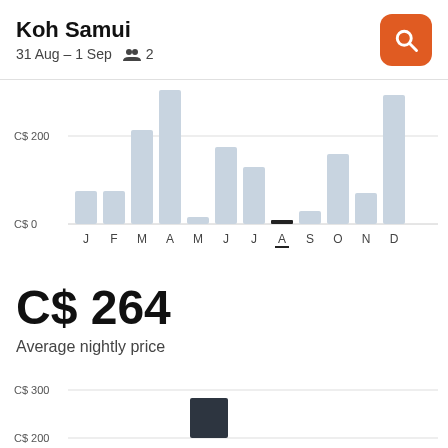Koh Samui
31 Aug – 1 Sep   👥 2
[Figure (bar-chart): Average nightly price by month]
C$ 264
Average nightly price
[Figure (bar-chart): Price distribution]